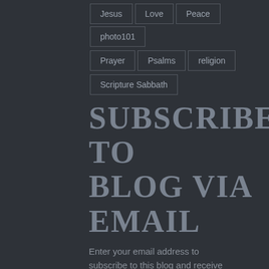Jesus
Love
Peace
photo101
Prayer
Psalms
religion
Scripture Sabbath
SUBSCRIBE TO BLOG VIA EMAIL
Enter your email address to subscribe to this blog and receive notifications of new posts by email.
Enter your email address
SUBSCRIBE